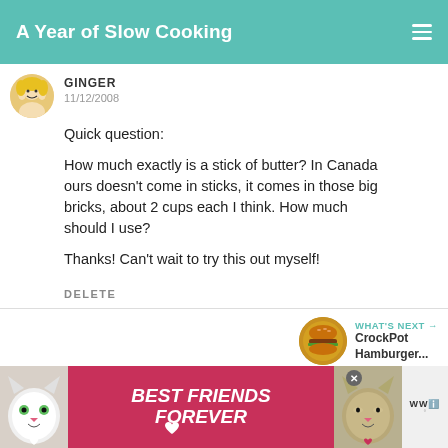A Year of Slow Cooking
GINGER
11/12/2008
Quick question:

How much exactly is a stick of butter? In Canada ours doesn't come in sticks, it comes in those big bricks, about 2 cups each I think. How much should I use?

Thanks! Can't wait to try this out myself!
DELETE
WHAT'S NEXT → CrockPot Hamburger...
[Figure (photo): Advertisement banner: two cats with text 'BEST FRIENDS FOREVER' on pink/red background]